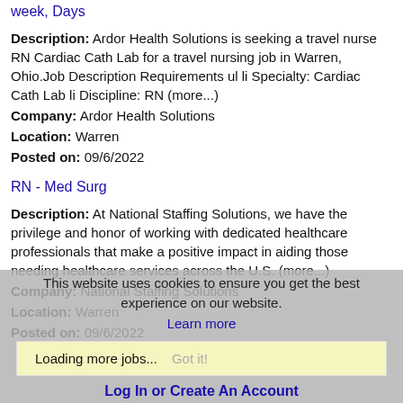week, Days
Description: Ardor Health Solutions is seeking a travel nurse RN Cardiac Cath Lab for a travel nursing job in Warren, Ohio.Job Description Requirements ul li Specialty: Cardiac Cath Lab li Discipline: RN (more...)
Company: Ardor Health Solutions
Location: Warren
Posted on: 09/6/2022
RN - Med Surg
Description: At National Staffing Solutions, we have the privilege and honor of working with dedicated healthcare professionals that make a positive impact in aiding those needing healthcare services across the U.S. (more...)
Company: National Staffing Solutions
Location: Warren
Posted on: 09/6/2022
This website uses cookies to ensure you get the best experience on our website. Learn more
Loading more jobs... Got it!
Log In or Create An Account